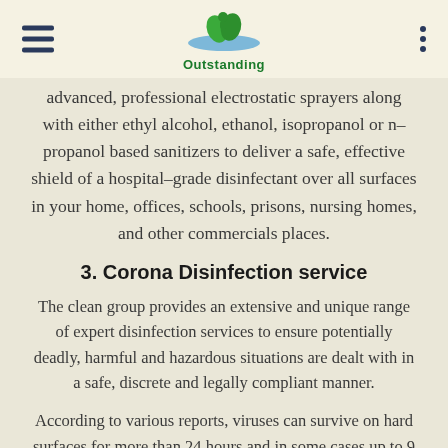Outstanding
advanced, professional electrostatic sprayers along with either ethyl alcohol, ethanol, isopropanol or n-propanol based sanitizers to deliver a safe, effective shield of a hospital-grade disinfectant over all surfaces in your home, offices, schools, prisons, nursing homes, and other commercials places.
3. Corona Disinfection service
The clean group provides an extensive and unique range of expert disinfection services to ensure potentially deadly, harmful and hazardous situations are dealt with in a safe, discrete and legally compliant manner.
According to various reports, viruses can survive on hard surfaces for more than 24 hours and in some cases up to 9 days, so it is important to clean and disinfect all hard surfaces that you might touch such as the tray tables, touch